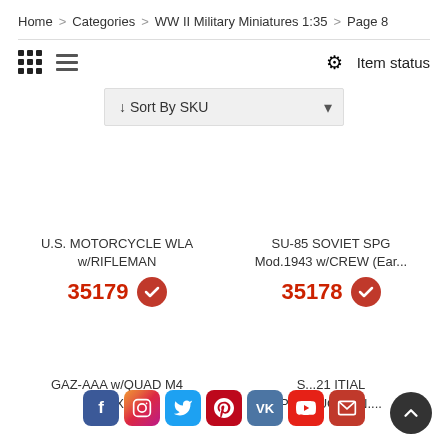Home > Categories > WW II Military Miniatures 1:35 > Page 8
Item status
↓ Sort By SKU
U.S. MOTORCYCLE WLA w/RIFLEMAN
35179
SU-85 SOVIET SPG Mod.1943 w/CREW (Ear...
35178
GAZ-AAA w/QUAD M4 MAXIM
S...21 ITIAL PRODUCTION....